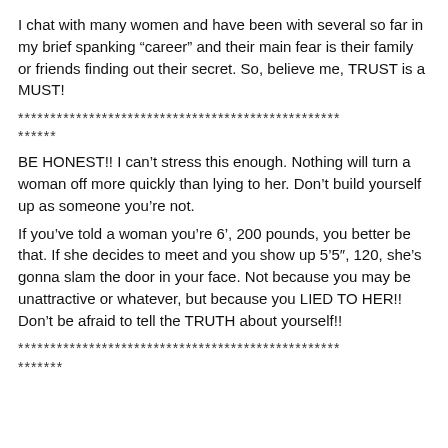I chat with many women and have been with several so far in my brief spanking “career” and their main fear is their family or friends finding out their secret. So, believe me, TRUST is a MUST!
**************************************************
******
BE HONEST!! I can’t stress this enough. Nothing will turn a woman off more quickly than lying to her. Don’t build yourself up as someone you’re not.
If you’ve told a woman you’re 6’, 200 pounds, you better be that. If she decides to meet and you show up 5’5″, 120, she’s gonna slam the door in your face. Not because you may be unattractive or whatever, but because you LIED TO HER!! Don’t be afraid to tell the TRUTH about yourself!!
**************************************************
*******